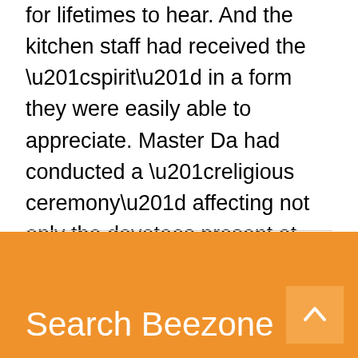for lifetimes to hear. And the kitchen staff had received the “spirit” in a form they were easily able to appreciate. Master Da had conducted a “religious ceremony” affecting not only the devotees present at the table but also the employees of the restaurant. George and the busboy were generously tipped for their service. And as we were leaving the restaurant, the cashier asked the hostess, “Do you know who that man is? He looks so happy. And His friends are so happy. They’re different, aren’t they!” ■
Search Beezone